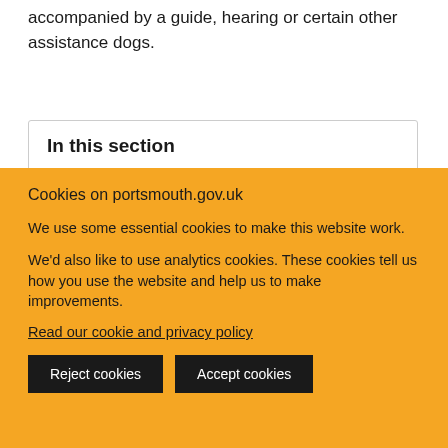accompanied by a guide, hearing or certain other assistance dogs.
In this section
Cookies on portsmouth.gov.uk
We use some essential cookies to make this website work.
We'd also like to use analytics cookies. These cookies tell us how you use the website and help us to make improvements.
Read our cookie and privacy policy
Reject cookies
Accept cookies